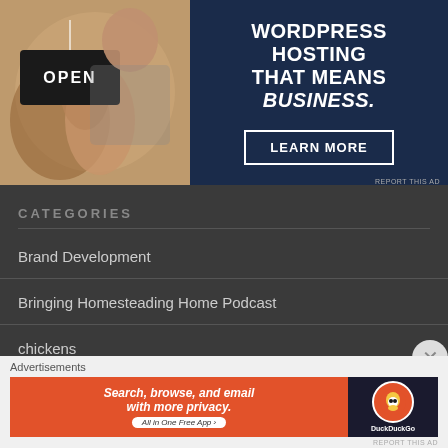[Figure (photo): Advertisement banner: left half shows a woman holding an OPEN sign in a shop; right half has dark navy background with text 'WORDPRESS HOSTING THAT MEANS BUSINESS.' and a 'LEARN MORE' button]
CATEGORIES
Brand Development
Bringing Homesteading Home Podcast
chickens
DBF Top 5 Grows 2021
[Figure (screenshot): DuckDuckGo advertisement: orange background with text 'Search, browse, and email with more privacy. All in One Free App' and DuckDuckGo logo on dark background]